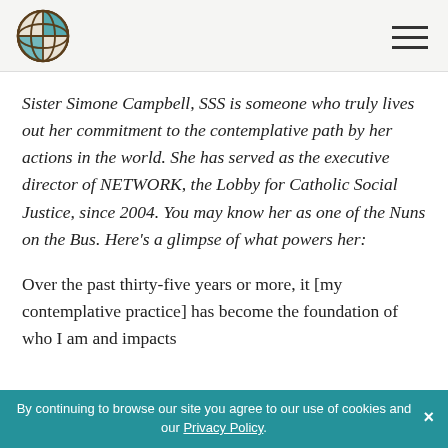Sister Simone Campbell, SSS is someone who truly lives out her commitment to the contemplative path by her actions in the world. She has served as the executive director of NETWORK, the Lobby for Catholic Social Justice, since 2004. You may know her as one of the Nuns on the Bus. Here’s a glimpse of what powers her:
Over the past thirty-five years or more, it [my contemplative practice] has become the foundation of who I am and impacts
By continuing to browse our site you agree to our use of cookies and our Privacy Policy.